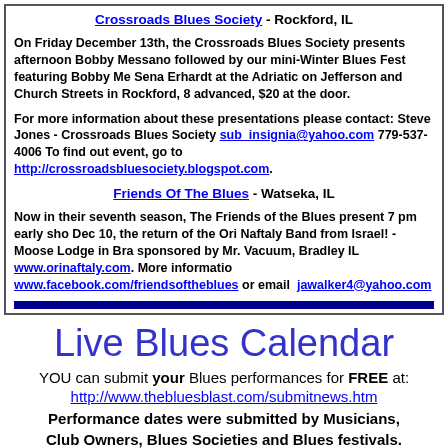Crossroads Blues Society - Rockford, IL
On Friday December 13th, the Crossroads Blues Society presents afternoon Bobby Messano followed by our mini-Winter Blues Fest featuring Bobby Me... Sena Erhardt at the Adriatic on Jefferson and Church Streets in Rockford, 8... advanced, $20 at the door.
For more information about these presentations please contact: Steve Jones - Crossroads Blues Society sub_insignia@yahoo.com 779-537-4006 To find out event, go to http://crossroadsbluesociety.blogspot.com.
Friends Of The Blues - Watseka, IL
Now in their seventh season, The Friends of the Blues present 7 pm early sho... Dec 10, the return of the Ori Naftaly Band from Israel! - Moose Lodge in Bra... sponsored by Mr. Vacuum, Bradley IL www.orinaftaly.com. More informatio... www.facebook.com/friendsoftheblues or email jawalker4@yahoo.com
Live Blues Calendar
YOU can submit your Blues performances for FREE at:
http://www.thebluesblast.com/submitnews.htm
Performance dates were submitted by Musicians, Club Owners, Blues Societies and Blues festivals.
TheBluesBlast.com is not responsible for errors or omissions.
CLICK HERE for the Live Calendar Blues